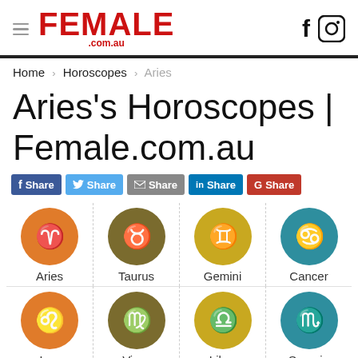FEMALE .com.au — f [instagram icon]
Home › Horoscopes › Aries
Aries's Horoscopes | Female.com.au
f Share  Share  Share  in Share  G Share
[Figure (infographic): Zodiac sign icons in colored circles: Aries (orange), Taurus (olive), Gemini (gold), Cancer (teal), Leo (orange), Virgo (olive), Libra (gold), Scorpio (teal), and partial row below]
Aries  Taurus  Gemini  Cancer  Leo  Virgo  Libra  Scorpio